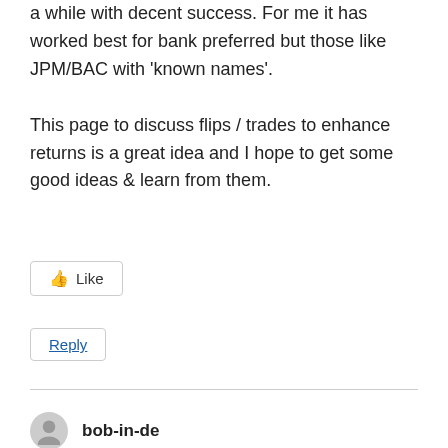a while with decent success. For me it has worked best for bank preferred but those like JPM/BAC with 'known names'.
This page to discuss flips / trades to enhance returns is a great idea and I hope to get some good ideas & learn from them.
Like
Reply
bob-in-de
12/17/2019 at 9:13 pm